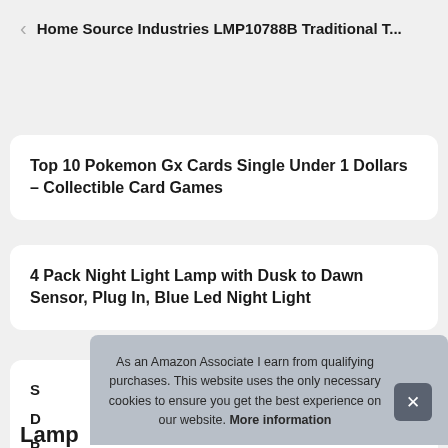Home Source Industries LMP10788B Traditional T...
Top 10 Pokemon Gx Cards Single Under 1 Dollars – Collectible Card Games
4 Pack Night Light Lamp with Dusk to Dawn Sensor, Plug In, Blue Led Night Light
S D P S Lamp
As an Amazon Associate I earn from qualifying purchases. This website uses the only necessary cookies to ensure you get the best experience on our website. More information